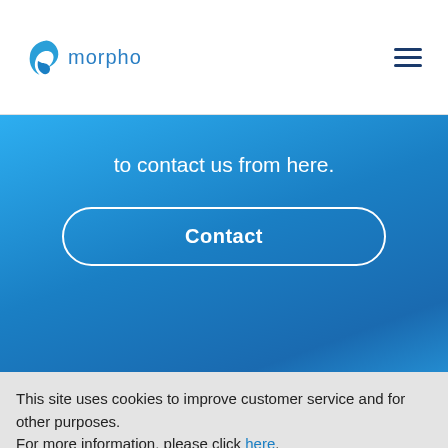[Figure (logo): Morpho logo in header: blue stylized leaf/bird icon followed by 'morpho' text in blue]
to contact us from here.
Contact
[Figure (logo): Morpho logo centered: larger blue stylized leaf/bird icon followed by 'morpho' text in blue]
This site uses cookies to improve customer service and for other purposes.
For more information, please click here.
Accept All Cookies
Reject All Cookies